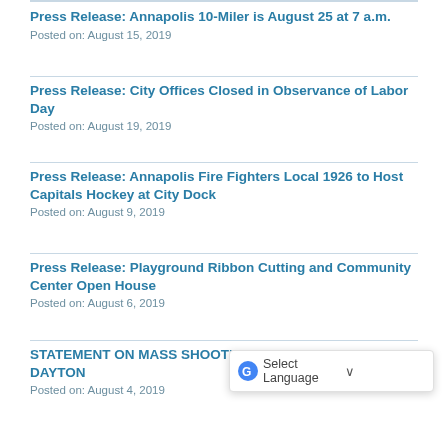Press Release: Annapolis 10-Miler is August 25 at 7 a.m.
Posted on: August 15, 2019
Press Release: City Offices Closed in Observance of Labor Day
Posted on: August 19, 2019
Press Release: Annapolis Fire Fighters Local 1926 to Host Capitals Hockey at City Dock
Posted on: August 9, 2019
Press Release: Playground Ribbon Cutting and Community Center Open House
Posted on: August 6, 2019
STATEMENT ON MASS SHOOTINGS IN EL PASO AND DAYTON
Posted on: August 4, 2019